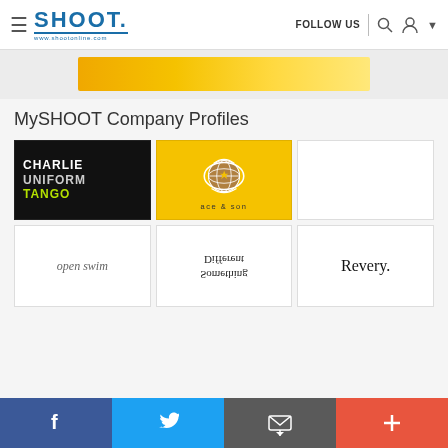SHOOT. | FOLLOW US
[Figure (other): Yellow/gold gradient banner advertisement]
MySHOOT Company Profiles
[Figure (logo): Charlie Uniform Tango logo - black background with white and green text]
[Figure (logo): Ace & Son logo - yellow background with globe graphic]
[Figure (other): Empty white card placeholder]
[Figure (logo): open swim logo - italic text]
[Figure (logo): Something Different logo - text displayed upside down]
[Figure (logo): Revery. logo - serif text]
Facebook | Twitter | Email | Plus social sharing bar